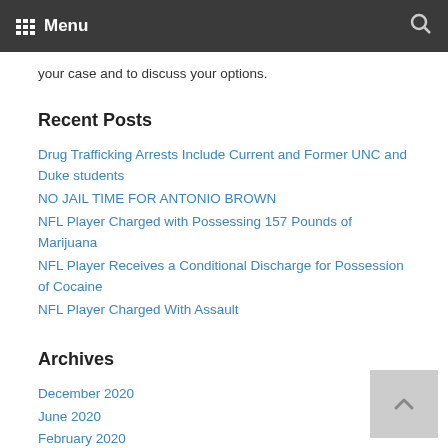Menu
your case and to discuss your options.
Recent Posts
Drug Trafficking Arrests Include Current and Former UNC and Duke students
NO JAIL TIME FOR ANTONIO BROWN
NFL Player Charged with Possessing 157 Pounds of Marijuana
NFL Player Receives a Conditional Discharge for Possession of Cocaine
NFL Player Charged With Assault
Archives
December 2020
June 2020
February 2020
January 2020
July 2019